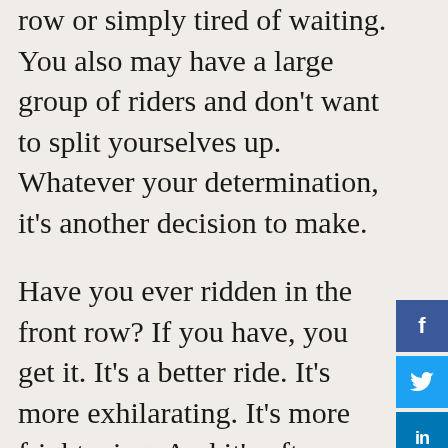row or simply tired of waiting. You also may have a large group of riders and don't want to split yourselves up. Whatever your determination, it's another decision to make.
Have you ever ridden in the front row? If you have, you get it. It's a better ride. It's more exhilarating. It's more frightening. And it's often worth the longer wait! Sometimes the best things in life require us to wait a little longer, and that's okay.
Waiting may feel painful at times. Waiting may make us wonder if what lies ahead is worth it. If we're waiting to live, thrive, and survive